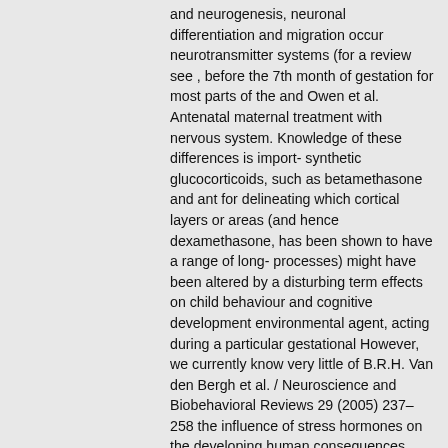and neurogenesis, neuronal differentiation and migration occur neurotransmitter systems (for a review see , before the 7th month of gestation for most parts of the and Owen et al. Antenatal maternal treatment with nervous system. Knowledge of these differences is import- synthetic glucocorticoids, such as betamethasone and ant for delineating which cortical layers or areas (and hence dexamethasone, has been shown to have a range of long- processes) might have been altered by a disturbing term effects on child behaviour and cognitive development environmental agent, acting during a particular gestational However, we currently know very little of B.R.H. Van den Bergh et al. / Neuroscience and Biobehavioral Reviews 29 (2005) 237–258 the influence of stress hormones on the developing human consequences. Prenatal programming of the HPA-axis and fetal nervous system. It is clear that, although cortisol is of structure–function relationships controlled by the pre- essential for normal brain development, exposure to frontal cortex may contribute to regulation problems at the excessive amounts has